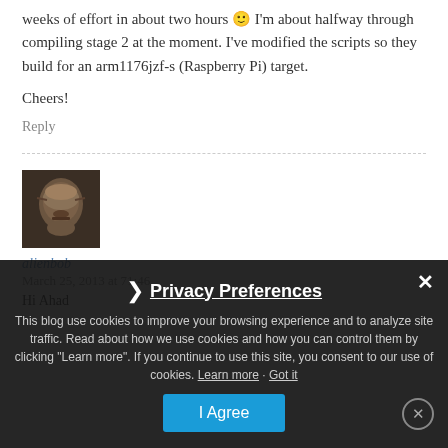weeks of effort in about two hours 🙂 I'm about halfway through compiling stage 2 at the moment. I've modified the scripts so they build for an arm1176jzf-s (Raspberry Pi) target.
Cheers!
Reply
[Figure (photo): Avatar image of user alienbob - dark metallic face icon]
alienbob
March 25, 2013 at 71:46
Hi Ahad
Privacy Preferences cookie consent banner with I Agree button and close controls
This blog use cookies to improve your browsing experience and to analyze site traffic. Read about how we use cookies and how you can control them by clicking "Learn more". If you continue to use this site, you consent to our use of cookies. Learn more · Got it